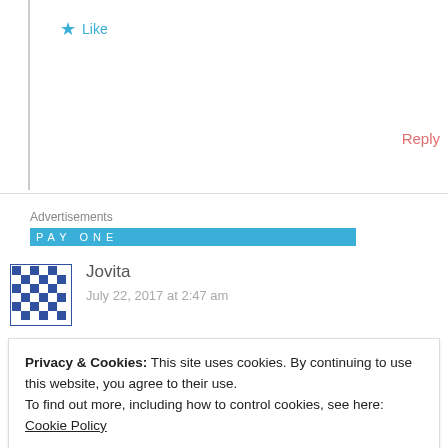★ Like
Reply
Advertisements
[Figure (other): Blue advertisement banner bar with partial text visible]
Jovita
July 22, 2017 at 2:47 am
Privacy & Cookies: This site uses cookies. By continuing to use this website, you agree to their use.
To find out more, including how to control cookies, see here: Cookie Policy
Close and accept